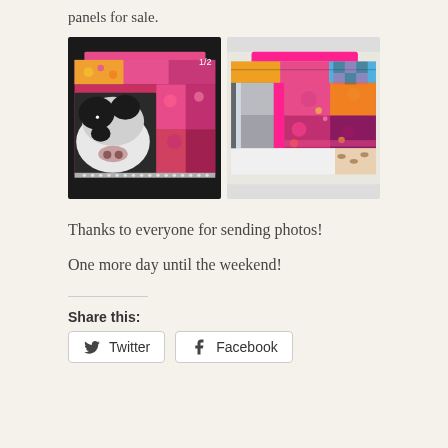panels for sale.
[Figure (photo): Two photos of colorful patchwork quilted tote bags side by side. Left bag features a black and white cow face print with pink and multicolor patchwork fabric, with a rhinestone zipper. Right bag shows the reverse/other side of a similar bag with bright multicolor patchwork fabrics including pinks, oranges, purples, and a pink strap. A '1/2' counter appears on the left image.]
Thanks to everyone for sending photos!
One more day until the weekend!
Share this:
Twitter
Facebook